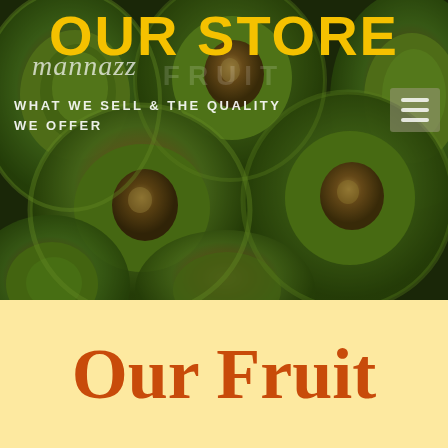OUR STORE
mannazz
FRUIT
WHAT WE SELL & THE QUALITY WE OFFER
[Figure (photo): Close-up photo of multiple halved avocados showing green flesh and brown pits, arranged filling the frame, with a dark background visible between them.]
Our Fruit